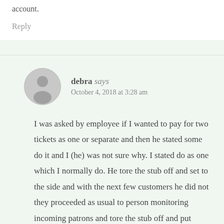account.
Reply
debra says
October 4, 2018 at 3:28 am
I was asked by employee if I wanted to pay for two tickets as one or separate and then he stated some do it and I (he) was not sure why. I stated do as one which I normally do. He tore the stub off and set to the side and with the next few customers he did not they proceeded as usual to person monitoring incoming patrons and tore the stub off and put